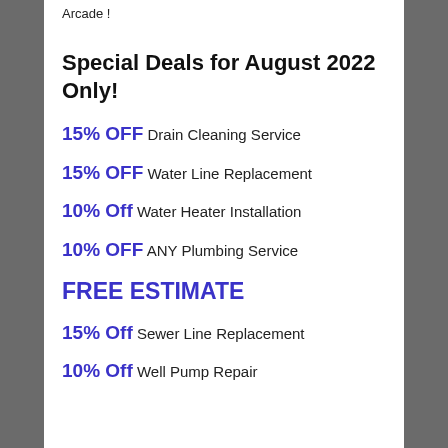Arcade !
Special Deals for August 2022 Only!
15% OFF Drain Cleaning Service
15% OFF Water Line Replacement
10% Off Water Heater Installation
10% OFF ANY Plumbing Service
FREE ESTIMATE
15% Off Sewer Line Replacement
10% Off Well Pump Repair